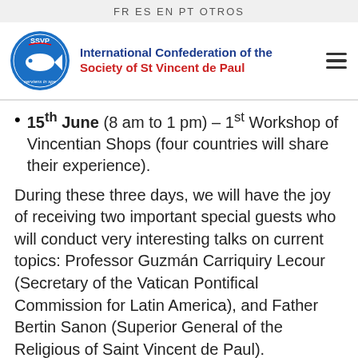FR  ES  EN  PT  OTROS
[Figure (logo): SSVP circular logo with fish symbol and text 'serviens in spe']
International Confederation of the Society of St Vincent de Paul
15th June (8 am to 1 pm) – 1st Workshop of Vincentian Shops (four countries will share their experience).
During these three days, we will have the joy of receiving two important special guests who will conduct very interesting talks on current topics: Professor Guzmán Carriquiry Lecour (Secretary of the Vatican Pontifical Commission for Latin America), and Father Bertin Sanon (Superior General of the Religious of Saint Vincent de Paul).